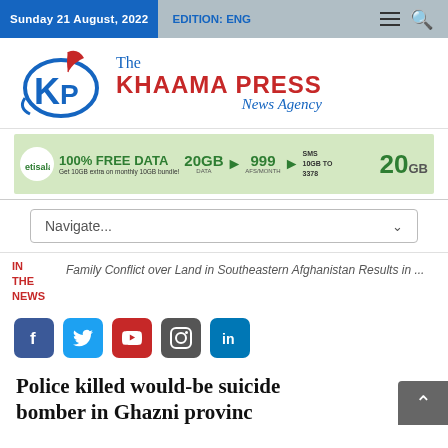Sunday 21 August, 2022  EDITION: ENG
[Figure (logo): Khaama Press News Agency logo with KP letters and feather icon. Text: The KHAAMA PRESS News Agency]
[Figure (infographic): Etisalat advertisement: 100% FREE DATA, Get 10GB extra on monthly 10GB bundle! 20GB DATA > 999 AFS/MONTH > SMS 10GB TO 3378, 20GB]
Navigate...
IN THE NEWS
Family Conflict over Land in Southeastern Afghanistan Results in ...
[Figure (infographic): Social media icons: Facebook, Twitter, YouTube, Instagram, LinkedIn]
Police killed would-be suicide bomber in Ghazni province